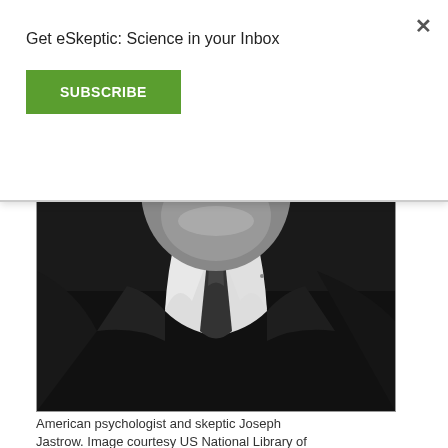Get eSkeptic: Science in your Inbox
SUBSCRIBE
[Figure (photo): Black and white portrait photograph of American psychologist and skeptic Joseph Jastrow, showing lower face, collar, tie, and dark jacket.]
American psychologist and skeptic Joseph Jastrow. Image courtesy US National Library of